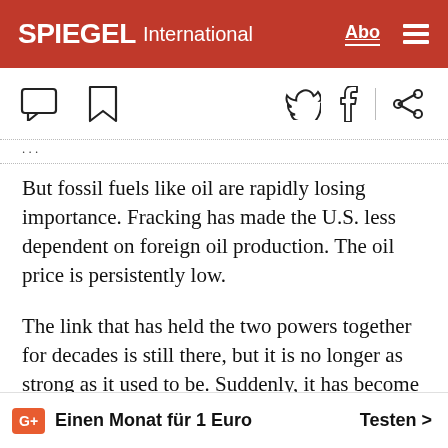SPIEGEL International
[Figure (infographic): Toolbar with comment, bookmark, Twitter, Facebook, and share icons]
But fossil fuels like oil are rapidly losing importance. Fracking has made the U.S. less dependent on foreign oil production. The oil price is persistently low.
The link that has held the two powers together for decades is still there, but it is no longer as strong as it used to be. Suddenly, it has become a lot harder to see past the contradictions in the relationship, even though they have existed for quite some time. Meanwhile, many in Washington, London, Paris and Berlin are now asking a very important question:
G+ Einen Monat für 1 Euro  Testen >